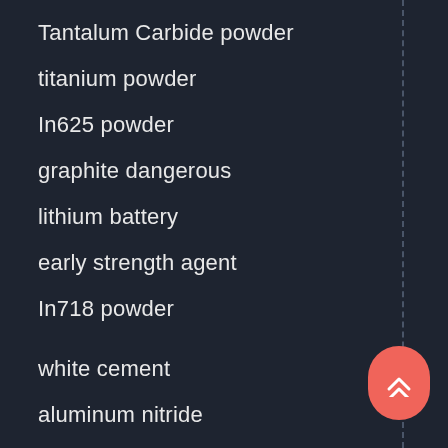Tantalum Carbide powder
titanium powder
In625 powder
graphite dangerous
lithium battery
early strength agent
In718 powder
white cement
aluminum nitride
Molybdenum Disulfide
PP fiber
concrete foaming agent